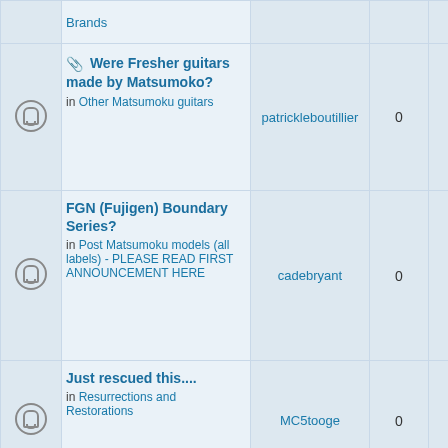|  | Topic | Author | Replies | Views | Last Post |
| --- | --- | --- | --- | --- | --- |
|  | Brands |  |  |  |  |
| bell | Were Fresher guitars made by Matsumoko?
in Other Matsumoku guitars | patrickleboutillier | 0 | 278 | Sa
pat |
| bell | FGN (Fujigen) Boundary Series?
in Post Matsumoku models (all labels) - PLEASE READ FIRST ANNOUNCEMENT HERE | cadebryant | 0 | 337 | 20
ca |
| bell | Just rescued this....
in Resurrections and Restorations | MC5tooge | 0 | 403 | 20
M |
| bell | Looking for additions to the new site | Crusty | 0 | 1014 | Tu |